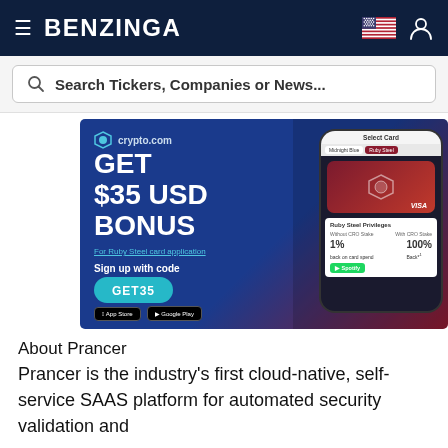BENZINGA
[Figure (screenshot): Benzinga website navigation bar with hamburger menu, BENZINGA logo, US flag icon, and user profile icon on dark navy background]
[Figure (screenshot): Search bar with placeholder text: Search Tickers, Companies or News...]
[Figure (infographic): crypto.com advertisement banner: GET $35 USD BONUS for Ruby Steel card application. Sign up with code GET35. Shows Ruby Steel Visa card on phone with Ruby Steel Privileges: 1% back on card spend, 100% Back Spotify. App Store and Google Play download buttons.]
About Prancer
Prancer is the industry's first cloud-native, self-service SAAS platform for automated security validation and penetration testing in the cloud. Prancer provides